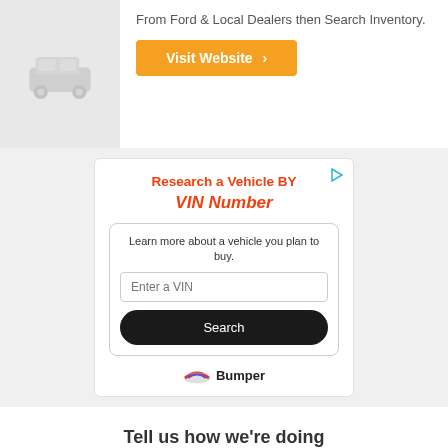From Ford & Local Dealers then Search Inventory.
[Figure (illustration): Visit Website orange button with right chevron]
[Figure (infographic): Ad box: Research a Vehicle BY VIN Number with input field and Search button, Bumper logo at bottom]
Tell us how we’re doing
Did these results show what you were looking for?